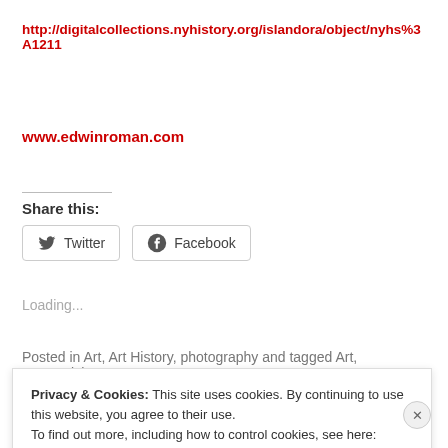http://digitalcollections.nyhistory.org/islandora/object/nyhs%3A1211
www.edwinroman.com
Share this:
Twitter
Facebook
Loading...
Posted in Art, Art History, photography and tagged Art, Greenwich
Privacy & Cookies: This site uses cookies. By continuing to use this website, you agree to their use.
To find out more, including how to control cookies, see here: Cookie Policy
Close and accept